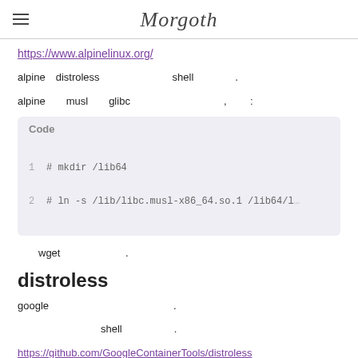Morgoth
https://www.alpinelinux.org/
alpine distroless shell .
alpine musl glibc , :
Code
1  # mkdir /lib64
2  # ln -s /lib/libc.musl-x86_64.so.1 /lib64/l
wget .
distroless
google .
shell .
https://github.com/GoogleContainerTools/distroless